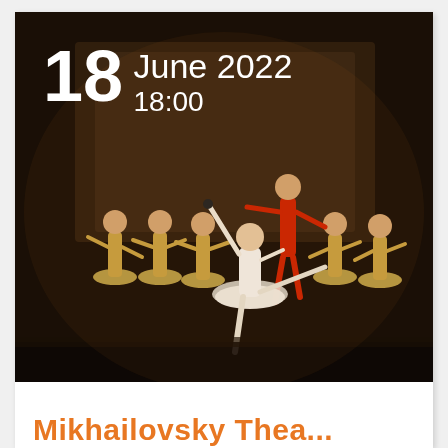[Figure (photo): Ballet performance photo showing dancers on stage. In the foreground, a ballerina in a white tutu is lifted by a male dancer in a red costume. Background dancers wear golden tutus. Dark stage backdrop. Date overlay reads '18 June 2022 18:00' in white text.]
Mikhailovsky Thea...